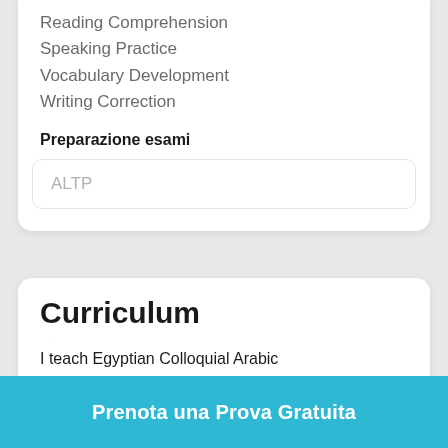Reading Comprehension
Speaking Practice
Vocabulary Development
Writing Correction
Preparazione esami
ALTP
Curriculum
Studi e Formazione
2012    Freelancer Arabic Teacher for non-
Prenota una Prova Gratuita
I teach Egyptian Colloquial Arabic